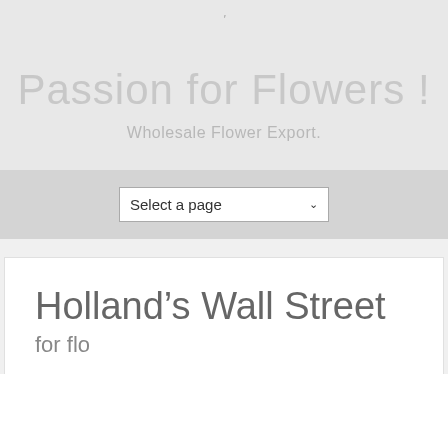'
Passion for Flowers !
Wholesale Flower Export.
Select a page
Holland's Wall Street